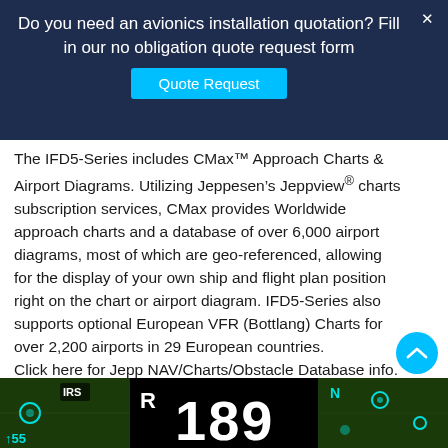Do you need an avionics installation quotation? Fill in our no obligation quote request form
Quote Request
The IFD5-Series includes CMax™ Approach Charts & Airport Diagrams. Utilizing Jeppesen's Jeppview® charts subscription services, CMax provides Worldwide approach charts and a database of over 6,000 airport diagrams, most of which are geo-referenced, allowing for the display of your own ship and flight plan position right on the chart or airport diagram. IFD5-Series also supports optional European VFR (Bottlang) Charts for over 2,200 airports in 29 European countries.
Click here for Jepp NAV/Charts/Obstacle Database info.
Low-Fuel Alerting
[Figure (screenshot): Bottom strip showing an avionics display screen with large white digits '189' on a black background, surrounded by green map/navigation display areas with cyan circular markers.]